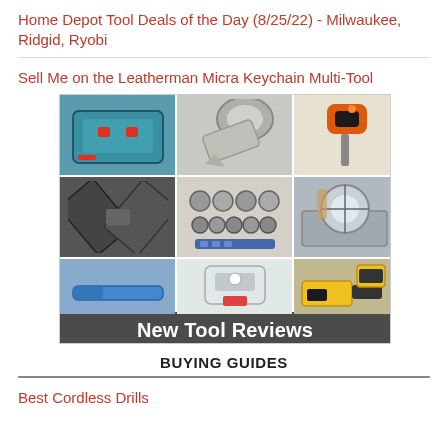Home Depot Tool Deals of the Day (8/25/22) - Milwaukee, Ridgid, Ryobi
Sell Me on the Leatherman Micra Keychain Multi-Tool
[Figure (photo): Composite image of various tools including a Bosch carry case, wrench, Black & Decker drill, crimping tool, socket set, table saw, pliers, cordless drills, and a blue cable. Overlay text reads 'New Tool Reviews'.]
BUYING GUIDES
Best Cordless Drills